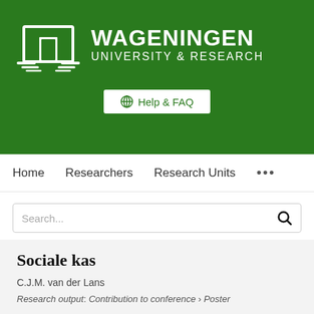[Figure (logo): Wageningen University & Research logo with white building/door icon on green background and WAGENINGEN UNIVERSITY & RESEARCH text in white]
Help & FAQ
Home   Researchers   Research Units   ...
Search...
Sociale kas
C.J.M. van der Lans
Research output: Contribution to conference › Poster